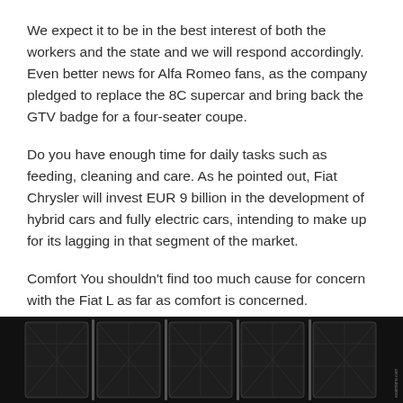We expect it to be in the best interest of both the workers and the state and we will respond accordingly. Even better news for Alfa Romeo fans, as the company pledged to replace the 8C supercar and bring back the GTV badge for a four-seater coupe.
Do you have enough time for daily tasks such as feeding, cleaning and care. As he pointed out, Fiat Chrysler will invest EUR 9 billion in the development of hybrid cars and fully electric cars, intending to make up for its lagging in that segment of the market.
Comfort You shouldn't find too much cause for concern with the Fiat L as far as comfort is concerned.
[Figure (photo): Dark interior upholstery with diamond-stitched leather seat pattern, shown in a dimly lit setting]